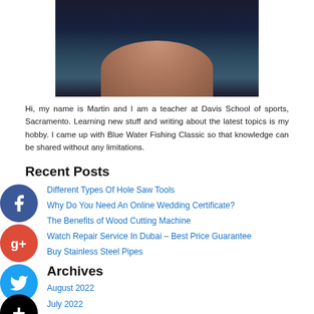[Figure (photo): Headshot photo of Martin, a man, cropped showing head and shoulders against dark background]
Hi, my name is Martin and I am a teacher at Davis School of sports, Sacramento. Learning new stuff and writing about the latest topics is my hobby. I came up with Blue Water Fishing Classic so that knowledge can be shared without any limitations.
Recent Posts
Different Types Of Hole Saw Tools
Why Do You Need An Online Wedding Certificate?
The Benefits of Wood Cutting Machine
Watch Repair Service In Dubai – Best Price Guarantee
Buy Stainless Steel Pipes
Archives
August 2022
July 2022
June 2022